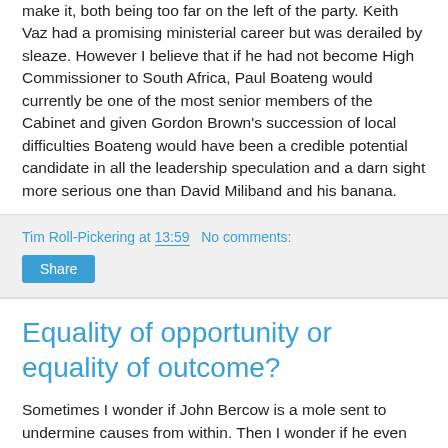make it, both being too far on the left of the party. Keith Vaz had a promising ministerial career but was derailed by sleaze. However I believe that if he had not become High Commissioner to South Africa, Paul Boateng would currently be one of the most senior members of the Cabinet and given Gordon Brown's succession of local difficulties Boateng would have been a credible potential candidate in all the leadership speculation and a darn sight more serious one than David Miliband and his banana.
Tim Roll-Pickering at 13:59   No comments:
Share
Equality of opportunity or equality of outcome?
Sometimes I wonder if John Bercow is a mole sent to undermine causes from within. Then I wonder if he even knows what cause he's pushing for.